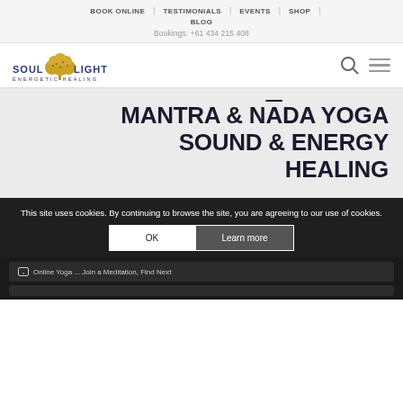BOOK ONLINE | TESTIMONIALS | EVENTS | SHOP | BLOG
Bookings: +61 434 215 408
[Figure (logo): Soul Light Energetic Healing logo with golden tree illustration and text SOUL LIGHT ENERGETIC HEALING]
MANTRA & NĀDA YOGA SOUND & ENERGY HEALING
This site uses cookies. By continuing to browse the site, you are agreeing to our use of cookies.
OK | Learn more
Online Yoga ... Join a Meditation, Find Next